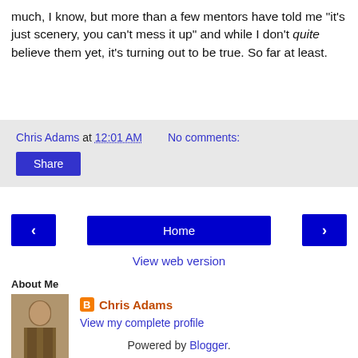much, I know, but more than a few mentors have told me "it's just scenery, you can't mess it up" and while I don't quite believe them yet, it's turning out to be true. So far at least.
Chris Adams at 12:01 AM   No comments:
Share
[Figure (screenshot): Navigation bar with back arrow button, Home button, and forward arrow button]
View web version
About Me
[Figure (photo): Profile photo of Chris Adams - a person standing]
Chris Adams
View my complete profile
Powered by Blogger.